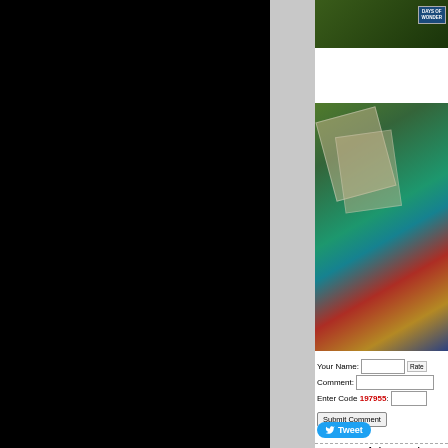[Figure (photo): Partial view of a board game box with Days of Wonder branding, green and dark tones]
[Figure (photo): Close-up aerial view of a colorful fantasy board game in progress, showing cards, game board tiles with green, teal, red and yellow areas, and miniature figures]
Your Name:
Comment:
Enter Code 197955:
Submit Comment
Tweet
A Game of Thrones: The